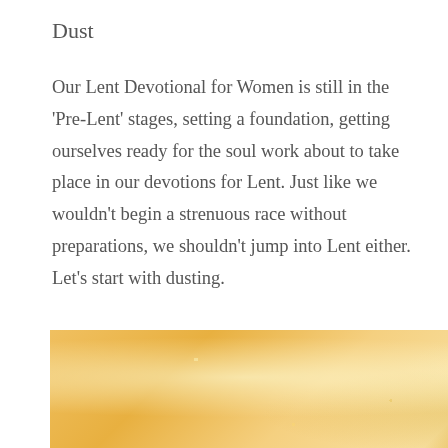Dust
Our Lent Devotional for Women is still in the 'Pre-Lent' stages, setting a foundation, getting ourselves ready for the soul work about to take place in our devotions for Lent. Just like we wouldn't begin a strenuous race without preparations, we shouldn't jump into Lent either. Let's start with dusting.
[Figure (photo): Close-up blurred photo of baked bread or crackers with warm golden-yellow tones, showing two pieces side by side with a slight gap/seam between them.]